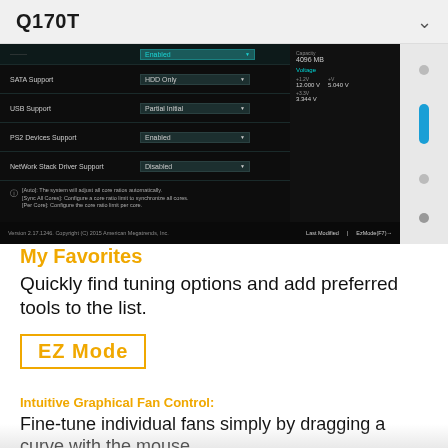Q170T
[Figure (screenshot): BIOS UEFI setup screen showing SATA Support (HDD Only), USB Support (Partial Initial), PS2 Devices Support (Enabled), NetWork Stack Driver Support (Disabled), with voltage readings on right panel. Version 2.17.1246 Copyright (C) 2015 American Megatrends, Inc.]
My Favorites
Quickly find tuning options and add preferred tools to the list.
EZ Mode
Intuitive Graphical Fan Control:
Fine-tune individual fans simply by dragging a curve with the mouse.
EZ XMD